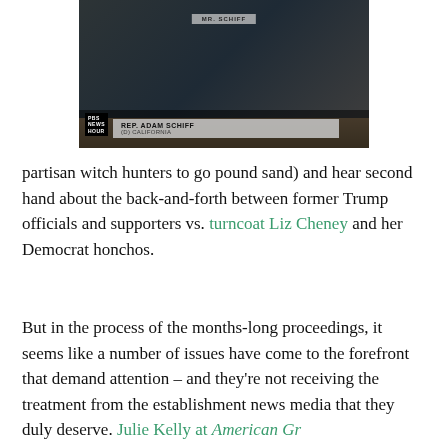[Figure (screenshot): PBS NewsHour TV screenshot showing Rep. Adam Schiff (D) California at a congressional hearing, with lower-third graphic identifying him]
partisan witch hunters to go pound sand) and hear second hand about the back-and-forth between former Trump officials and supporters vs. turncoat Liz Cheney and her Democrat honchos.
But in the process of the months-long proceedings, it seems like a number of issues have come to the forefront that demand attention – and they're not receiving the treatment from the establishment news media that they duly deserve. Julie Kelly at American Gr...